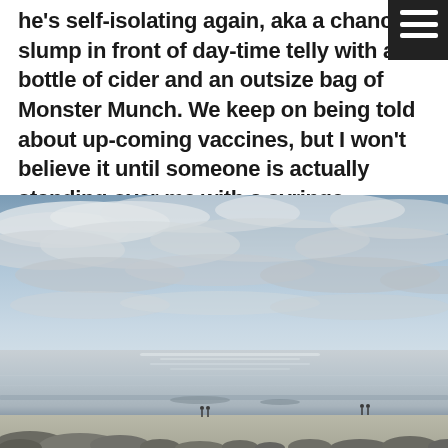he's self-isolating again, aka a chance to slump in front of day-time telly with a bottle of cider and an outsize bag of Monster Munch. We keep on being told about up-coming vaccines, but I won't believe it until someone is actually standing over me with a syringe...
[Figure (photo): A coastal beach scene with a dramatic cloudy sky occupying the upper two-thirds of the image. The sea is calm and reflective with silver light. A sandy beach with rocks in the foreground, and a few tiny human figures visible on the beach near the waterline.]